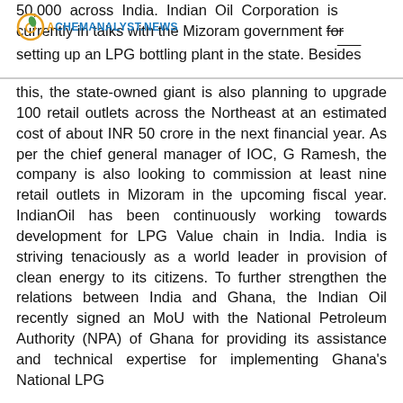ACHEMANALYST.NEWS
50,000 across India. Indian Oil Corporation is currently in talks with the Mizoram government for setting up an LPG bottling plant in the state. Besides this, the state-owned giant is also planning to upgrade 100 retail outlets across the Northeast at an estimated cost of about INR 50 crore in the next financial year. As per the chief general manager of IOC, G Ramesh, the company is also looking to commission at least nine retail outlets in Mizoram in the upcoming fiscal year. IndianOil has been continuously working towards development for LPG Value chain in India. India is striving tenaciously as a world leader in provision of clean energy to its citizens. To further strengthen the relations between India and Ghana, the Indian Oil recently signed an MoU with the National Petroleum Authority (NPA) of Ghana for providing its assistance and technical expertise for implementing Ghana's National LPG